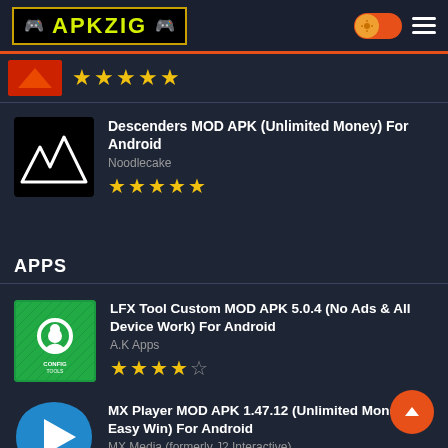APKZIG
[Figure (screenshot): Partially visible app icon with red/orange background]
★★★★★
[Figure (illustration): Descenders app icon - black background with white mountain peaks]
Descenders MOD APK (Unlimited Money) For Android
Noodlecake
★★★★★
APPS
[Figure (illustration): LFX Tool Config app icon - green background with white gear/person logo]
LFX Tool Custom MOD APK 5.0.4 (No Ads & All Device Work) For Android
A.K Apps
★★★★½
[Figure (illustration): MX Player app icon - blue circle with white play triangle]
MX Player MOD APK 1.47.12 (Unlimited Money, Easy Win) For Android
MX Media (formerly J2 Interactive)